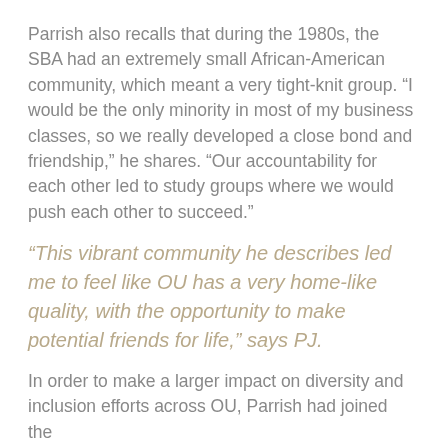Parrish also recalls that during the 1980s, the SBA had an extremely small African-American community, which meant a very tight-knit group. “I would be the only minority in most of my business classes, so we really developed a close bond and friendship,” he shares. “Our accountability for each other led to study groups where we would push each other to succeed.”
“This vibrant community he describes led me to feel like OU has a very home-like quality, with the opportunity to make potential friends for life,” says PJ.
In order to make a larger impact on diversity and inclusion efforts across OU, Parrish had joined the